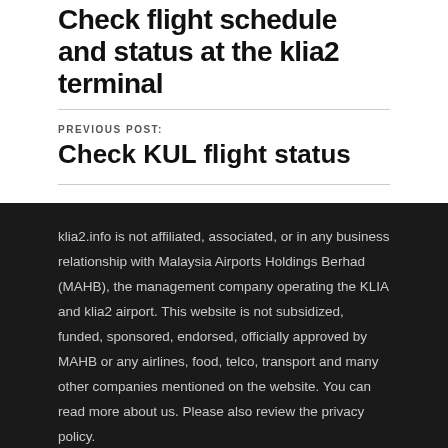Check flight schedule and status at the klia2 terminal
PREVIOUS POST:
Check KUL flight status
klia2.info is not affiliated, associated, or in any business relationship with Malaysia Airports Holdings Berhad (MAHB), the management company operating the KLIA and klia2 airport. This website is not subsidized, funded, sponsored, endorsed, officially approved by MAHB or any airlines, food, telco, transport and many other companies mentioned on the website. You can read more about us. Please also review the privacy policy.